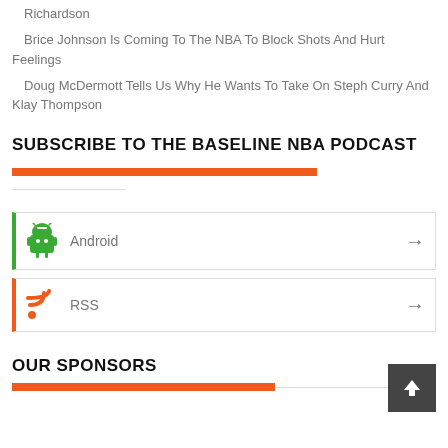Richardson
Brice Johnson Is Coming To The NBA To Block Shots And Hurt Feelings
Doug McDermott Tells Us Why He Wants To Take On Steph Curry And Klay Thompson
SUBSCRIBE TO THE BASELINE NBA PODCAST
Android
RSS
OUR SPONSORS